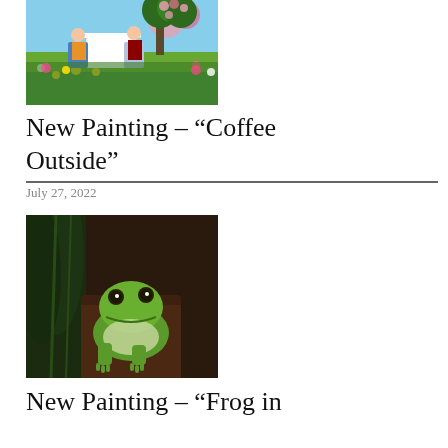[Figure (photo): Painting of two women sitting at a white outdoor table having coffee, surrounded by a colorful flower garden with pink, yellow, and white blooms]
New Painting – “Coffee Outside”
July 27, 2022
[Figure (photo): Painting of a green tree frog sitting against a dark brown background with dark green foliage]
New Painting – “Frog in